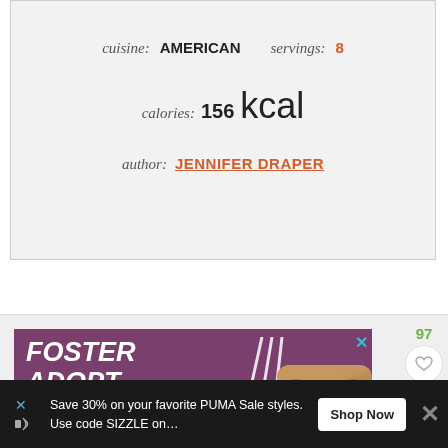cuisine: AMERICAN   servings: 8
calories: 156 kcal
author: JENNIFER DRAPER
[Figure (screenshot): Foster Adopt Rescue advertisement banner with purple background, bold white italic text reading FOSTER ADOPT RESCUE, decorative white line strokes, and a dog photo in bottom right corner. Has a close X button in top right.]
[Figure (screenshot): Bottom advertisement banner with dark background: 'Save 30% on your favorite PUMA Sale styles. Use code SIZZLE on...' with Shop Now button and close X button. Icons on left side.]